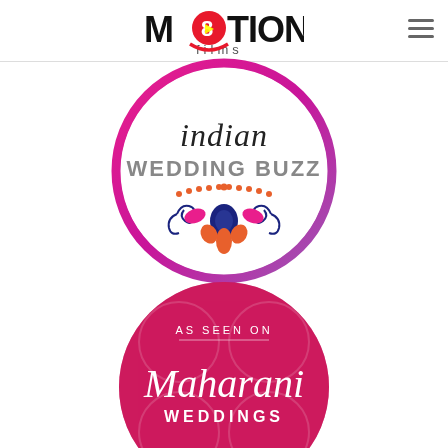[Figure (logo): M8TION Films logo with red 8 and play button icon]
[Figure (logo): Indian Wedding Buzz circular badge logo with decorative floral motif in pink, blue and orange]
[Figure (logo): As Seen On Maharani Weddings circular badge in magenta/pink with script lettering]